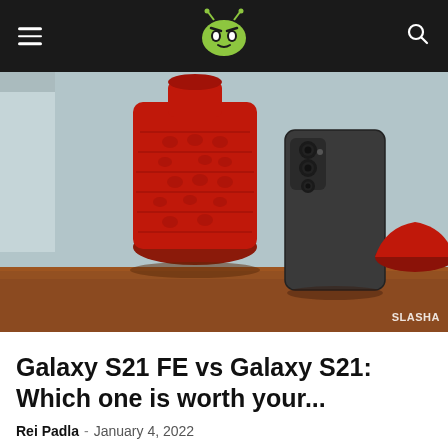AndroidPIT header with hamburger menu, logo, and search icon
[Figure (photo): Samsung Galaxy S21 FE smartphone leaning against a red ceramic decorative bottle on a wooden shelf, with a red bowl partially visible on the right. Watermark 'SLASHA' visible in bottom right corner.]
Galaxy S21 FE vs Galaxy S21: Which one is worth your...
Rei Padla · January 4, 2022
The Galaxy S21 FE may have been cancelled and then delayed Samsung's plan prevailed. The new Fan Edition comes out a month...